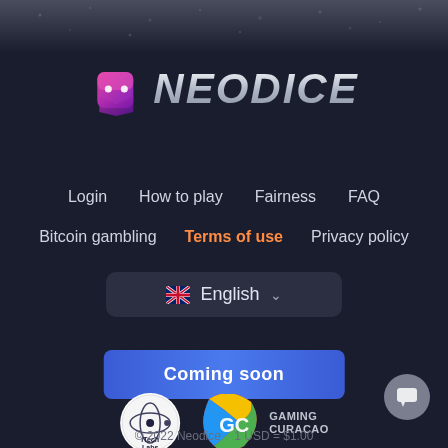[Figure (screenshot): Dark banner at top of page]
[Figure (logo): NeoDice logo with pink/purple dice icon and stylized metallic NEODICE text]
Login   How to play   Fairness   FAQ
Bitcoin gambling   Terms of use   Privacy policy
English (language selector dropdown)
Coming soon
[Figure (logo): iTech Labs certification badge (circular white logo)]
[Figure (logo): Gaming Curacao license badge with GC letters]
© 2022 Neodice   1 USD = $1.00